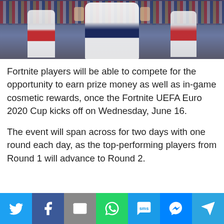[Figure (photo): Soccer/football players celebrating on a pitch with a crowd in the background. Center player wearing white Tottenham Hotspur kit, other players visible on sides.]
Fortnite players will be able to compete for the opportunity to earn prize money as well as in-game cosmetic rewards, once the Fortnite UEFA Euro 2020 Cup kicks off on Wednesday, June 16.
The event will span across for two days with one round each day, as the top-performing players from Round 1 will advance to Round 2.
[Figure (infographic): Social media share bar with icons for Twitter, Facebook, Email, WhatsApp, SMS, Messenger, and Telegram.]